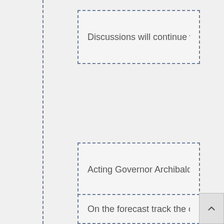Discussions will continue with the relevant s
Sea and airports throughout the Territory are
Acting Governor Archibald said proactive me
On the forecast track the centre of Bertha is expected t